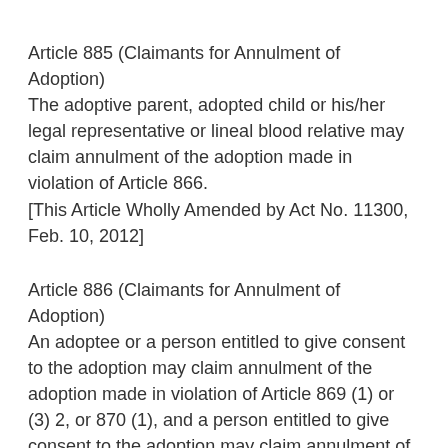Article 885 (Claimants for Annulment of Adoption)
The adoptive parent, adopted child or his/her legal representative or lineal blood relative may claim annulment of the adoption made in violation of Article 866.
[This Article Wholly Amended by Act No. 11300, Feb. 10, 2012]
Article 886 (Claimants for Annulment of Adoption)
An adoptee or a person entitled to give consent to the adoption may claim annulment of the adoption made in violation of Article 869 (1) or (3) 2, or 870 (1), and a person entitled to give consent to the adoption may claim annulment of the adoption made in violation of Article 871 (1).
[This Article Wholly Amended by Act No. 11300, Feb. 10, 2012]